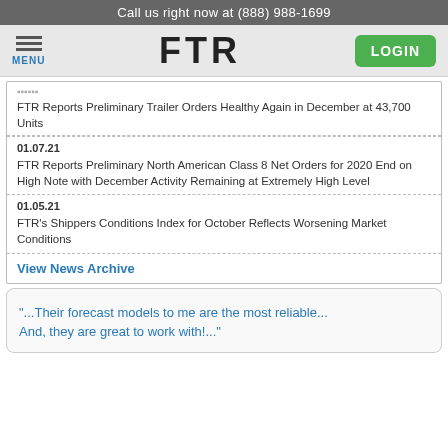Call us right now at (888) 988-1699
[Figure (screenshot): FTR website navigation bar with hamburger menu icon and MENU label on left, FTR logo in center, green LOGIN button on right]
FTR Reports Preliminary Trailer Orders Healthy Again in December at 43,700 Units
01.07.21
FTR Reports Preliminary North American Class 8 Net Orders for 2020 End on High Note with December Activity Remaining at Extremely High Level
01.05.21
FTR's Shippers Conditions Index for October Reflects Worsening Market Conditions
View News Archive
"...Their forecast models to me are the most reliable... And, they are great to work with!..."